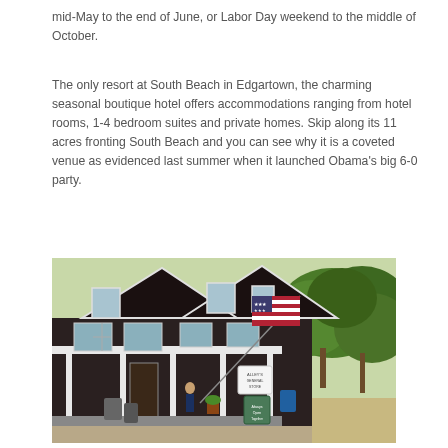mid-May to the end of June, or Labor Day weekend to the middle of October.
The only resort at South Beach in Edgartown, the charming seasonal boutique hotel offers accommodations ranging from hotel rooms, 1-4 bedroom suites and private homes. Skip along its 11 acres fronting South Beach and you can see why it is a coveted venue as evidenced last summer when it launched Obama's big 6-0 party.
[Figure (photo): Exterior photo of a dark-shingled New England-style building with a covered porch, an American flag flying on a pole, green trees in the background, and a sign reading Alley's General Store. A sandwich board sign is visible on the sidewalk.]